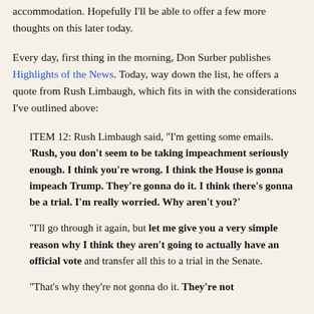accommodation. Hopefully I'll be able to offer a few more thoughts on this later today.
Every day, first thing in the morning, Don Surber publishes Highlights of the News. Today, way down the list, he offers a quote from Rush Limbaugh, which fits in with the considerations I've outlined above:
ITEM 12: Rush Limbaugh said, "I'm getting some emails. 'Rush, you don't seem to be taking impeachment seriously enough. I think you're wrong. I think the House is gonna impeach Trump. They're gonna do it. I think there's gonna be a trial. I'm really worried. Why aren't you?'
"I'll go through it again, but let me give you a very simple reason why I think they aren't going to actually have an official vote and transfer all this to a trial in the Senate.
"That's why they're not gonna do it. They're not